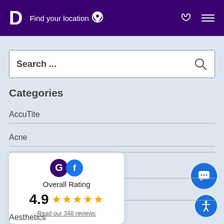D Find your location
[Figure (screenshot): Search bar with placeholder text 'Search ...' and a magnifier icon on the right]
Categories
AccuTite
Acne
[Figure (infographic): Overall Rating card showing Google and Facebook logos, rating 4.9 with 5 gold stars, and link 'Read our 348 reviews']
Aesthetics